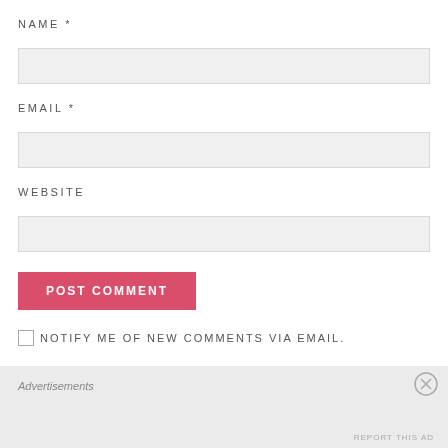NAME *
[Figure (other): Empty text input field for NAME]
EMAIL *
[Figure (other): Empty text input field for EMAIL]
WEBSITE
[Figure (other): Empty text input field for WEBSITE]
[Figure (other): POST COMMENT button (red/pink background, white text)]
NOTIFY ME OF NEW COMMENTS VIA EMAIL.
Advertisements
REPORT THIS AD